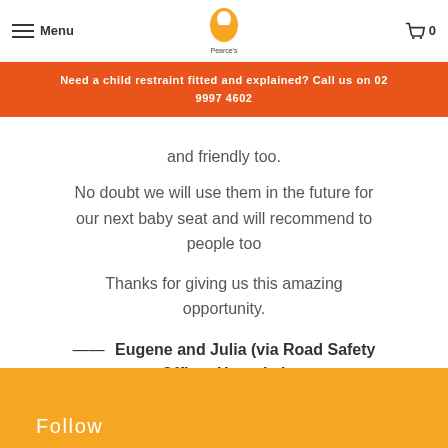Menu | Pearce's | 0
Need a child restraint fitted and explained? Call us on 02 9997 4602
and friendly too.
No doubt we will use them in the future for our next baby seat and will recommend to people too
Thanks for giving us this amazing opportunity.
— Eugene and Julia (via Road Safety Officer Hornsby)
Follow